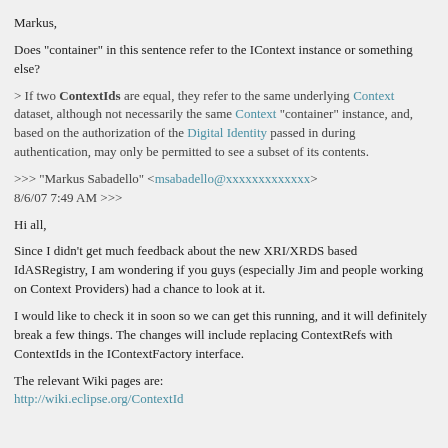Markus,
Does "container" in this sentence refer to the IContext instance or something else?
> If two ContextIds are equal, they refer to the same underlying Context dataset, although not necessarily the same Context "container" instance, and, based on the authorization of the Digital Identity passed in during authentication, may only be permitted to see a subset of its contents.
>>> "Markus Sabadello" <msabadello@xxxxxxxxxxxxx>
8/6/07 7:49 AM >>>
Hi all,
Since I didn't get much feedback about the new XRI/XRDS based IdASRegistry, I am wondering if you guys (especially Jim and people working on Context Providers) had a chance to look at it.
I would like to check it in soon so we can get this running, and it will definitely break a few things. The changes will include replacing ContextRefs with ContextIds in the IContextFactory interface.
The relevant Wiki pages are:
http://wiki.eclipse.org/ContextId